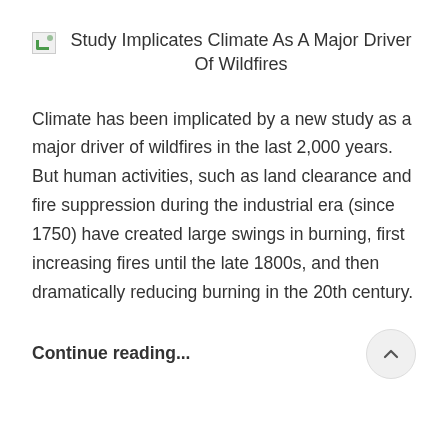Study Implicates Climate As A Major Driver Of Wildfires
Climate has been implicated by a new study as a major driver of wildfires in the last 2,000 years. But human activities, such as land clearance and fire suppression during the industrial era (since 1750) have created large swings in burning, first increasing fires until the late 1800s, and then dramatically reducing burning in the 20th century.
Continue reading...